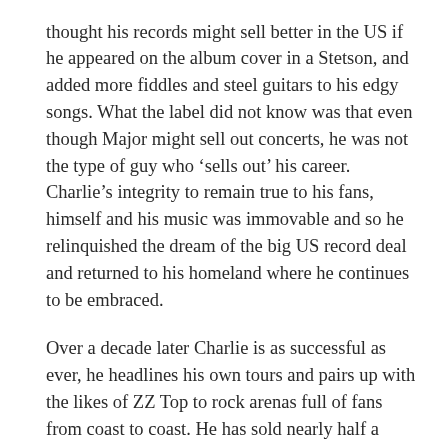thought his records might sell better in the US if he appeared on the album cover in a Stetson, and added more fiddles and steel guitars to his edgy songs. What the label did not know was that even though Major might sell out concerts, he was not the type of guy who 'sells out' his career. Charlie's integrity to remain true to his fans, himself and his music was immovable and so he relinquished the dream of the big US record deal and returned to his homeland where he continues to be embraced.
Over a decade later Charlie is as successful as ever, he headlines his own tours and pairs up with the likes of ZZ Top to rock arenas full of fans from coast to coast. He has sold nearly half a million records in Canada alone and won 3 Juno Awards and 7 CCMA's, but you wouldn't know it to meet him, and he would not tell you. He wears the cloak of humility, just like the hardworking folks that he represents in his music.
Truly a Canadian legend and one of the accomplished